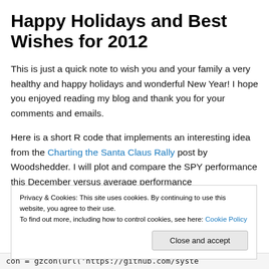Happy Holidays and Best Wishes for 2012
This is just a quick note to wish you and your family a very healthy and happy holidays and wonderful New Year! I hope you enjoyed reading my blog and thank you for your comments and emails.
Here is a short R code that implements an interesting idea from the Charting the Santa Claus Rally post by Woodshedder. I will plot and compare the SPY performance this December versus average performance
Privacy & Cookies: This site uses cookies. By continuing to use this website, you agree to their use.
To find out more, including how to control cookies, see here: Cookie Policy
Close and accept
con = gzcon(url('https://github.com/syste